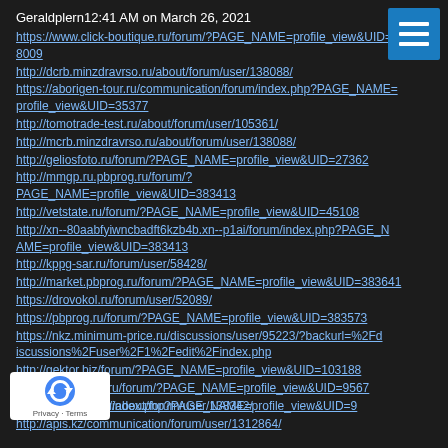Geraldplern12:41 AM on March 26, 2021
https://www.click-boutique.ru/forum/?PAGE_NAME=profile_view&UID=28009
http://dcrb.minzdravrso.ru/about/forum/user/138088/
https://aborigen-tour.ru/communication/forum/index.php?PAGE_NAME=profile_view&UID=35377
http://tomotrade-test.ru/about/forum/user/105361/
http://mcrb.minzdravrso.ru/about/forum/user/138088/
http://geliosfoto.ru/forum/?PAGE_NAME=profile_view&UID=27362
http://mmgp.ru.pbprog.ru/forum/?PAGE_NAME=profile_view&UID=383413
http://vetstate.ru/forum/?PAGE_NAME=profile_view&UID=45108
http://xn--80aabfyiwncbadft6kzb4b.xn--p1ai/forum/index.php?PAGE_NAME=profile_view&UID=383413
http://kppg-sar.ru/forum/user/58428/
http://market.pbprog.ru/forum/?PAGE_NAME=profile_view&UID=383641
https://drovokol.ru/forum/user/52089/
https://pbprog.ru/forum/?PAGE_NAME=profile_view&UID=383573
https://nkz.minimum-price.ru/discussions/user/95223/?backurl=%2Fdiscussions%2Fuser%2F1%2Fedit%2Findex.php
http://gektor.biz/forum/?PAGE_NAME=profile_view&UID=103188
http://goldenfiber.ru/forum/?PAGE_NAME=profile_view&UID=9567
http://...cdetstvo.ru/forum/index.php?PAGE_NAME=profile_view&UID=9
http://...b2.minzdravrso.ru/about/forum/user/138342/
http://apis.kz/communication/forum/user/1312864/